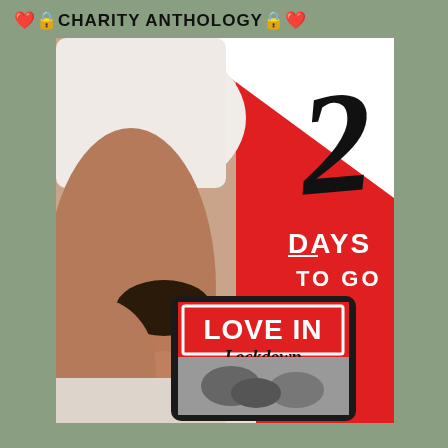❤️🔒CHARITY ANTHOLOGY🔒❤️
[Figure (illustration): Promotional book cover image for 'Love in Lockdown' charity anthology. Shows a man lying on white sheets on the left half, and a red background on the right with large handwritten-style number '2' and text 'DAYS TO GO'. In the lower portion, a tablet device displays the book cover 'LOVE IN Lockdown' with bold red and white title text and black and white imagery beneath.]